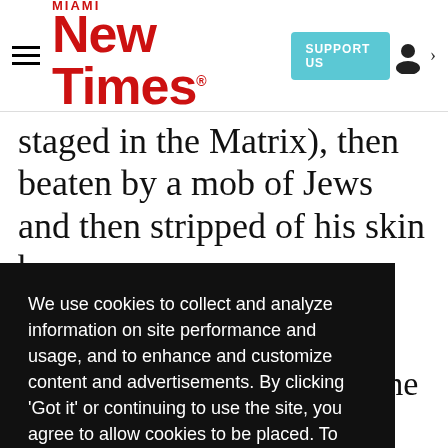Miami New Times | SUPPORT US
staged in the Matrix), then beaten by a mob of Jews and then stripped of his skin by
We use cookies to collect and analyze information on site performance and usage, and to enhance and customize content and advertisements. By clicking 'Got it' or continuing to use the site, you agree to allow cookies to be placed. To find out more, visit our cookies policy and our privacy policy.
Got it!
though Gibson has turned the scene from